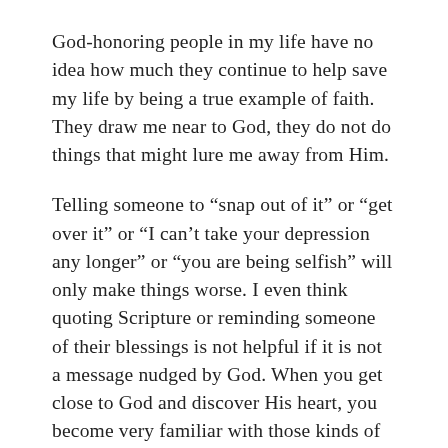God-honoring people in my life have no idea how much they continue to help save my life by being a true example of faith. They draw me near to God, they do not do things that might lure me away from Him.
Telling someone to “snap out of it” or “get over it” or “I can’t take your depression any longer” or “you are being selfish” will only make things worse. I even think quoting Scripture or reminding someone of their blessings is not helpful if it is not a message nudged by God. When you get close to God and discover His heart, you become very familiar with those kinds of nudges. I believe if God nudges you to say something specific to someone else, that He has gone ahead of you to prepare